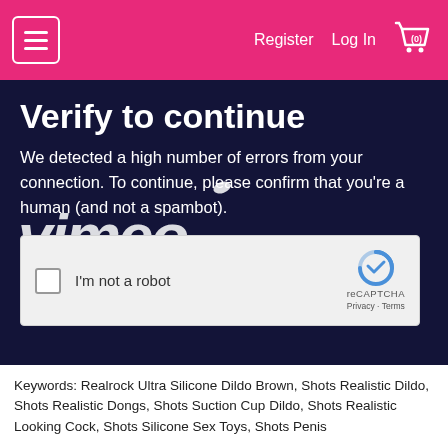Register  Log In  (0)
Verify to continue
We detected a high number of errors from your connection. To continue, please confirm that you're a human (and not a spambot).
[Figure (screenshot): reCAPTCHA checkbox widget with 'I'm not a robot' label and reCAPTCHA logo, Privacy and Terms links]
Keywords: Realrock Ultra Silicone Dildo Brown, Shots Realistic Dildo, Shots Realistic Dongs, Shots Suction Cup Dildo, Shots Realistic Looking Cock, Shots Silicone Sex Toys, Shots Penis